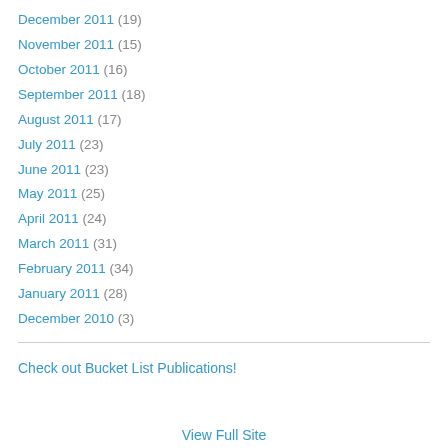December 2011 (19)
November 2011 (15)
October 2011 (16)
September 2011 (18)
August 2011 (17)
July 2011 (23)
June 2011 (23)
May 2011 (25)
April 2011 (24)
March 2011 (31)
February 2011 (34)
January 2011 (28)
December 2010 (3)
Check out Bucket List Publications!
View Full Site